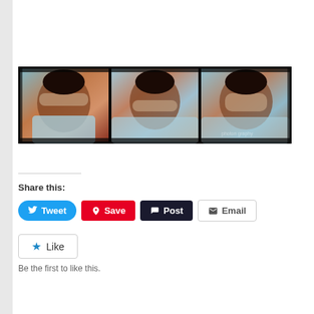[Figure (photo): A triptych photo strip showing a young woman in a light blue tank top posing in three frames: covering her eyes, covering her mouth, and covering her ear — in a see no evil, hear no evil, speak no evil style. The images have a vintage film strip look with dark borders and a watermark visible on the right frame.]
Share this:
Tweet  Save  Post  Email
Like
Be the first to like this.